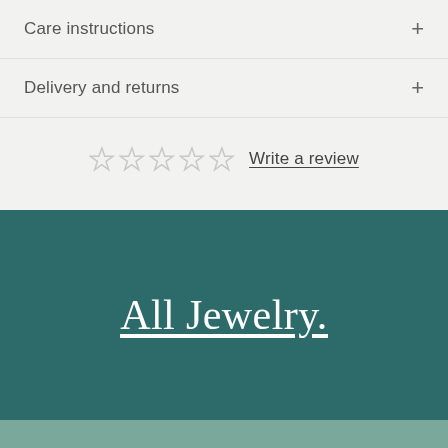Care instructions
Delivery and returns
☆☆☆☆☆ Write a review
All Jewelry.